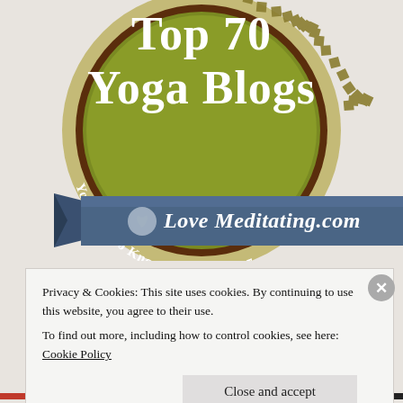[Figure (illustration): A circular badge/seal with olive green background and diamond-patterned border. Text reads 'Top 70 Yoga Blogs' in large white serif font, and 'You Need To Know About In 2017' in smaller white text on a curved banner. A blue ribbon banner across the bottom reads 'Love Meditating.com' with a small heart logo.]
Privacy & Cookies: This site uses cookies. By continuing to use this website, you agree to their use.
To find out more, including how to control cookies, see here: Cookie Policy
Close and accept